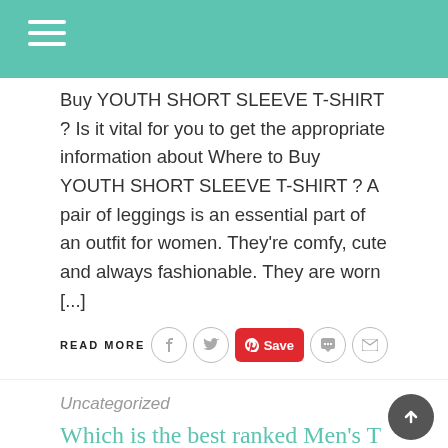Buy YOUTH SHORT SLEEVE T-SHIRT ? Is it vital for you to get the appropriate information about Where to Buy YOUTH SHORT SLEEVE T-SHIRT ? A pair of leggings is an essential part of an outfit for women. They're comfy, cute and always fashionable. They are worn [...]
READ MORE
Uncategorized
Which is the best ranked Men's T Shirt
KATSADMIN   JANUARY 22, 2014
WHICH IS THE BEST RANKED MEN'S T SHIRT
Are you searching for info regarding Which is the best ranked Men's T Shirt? Is it vital for you to get the ideal details about Which is the best